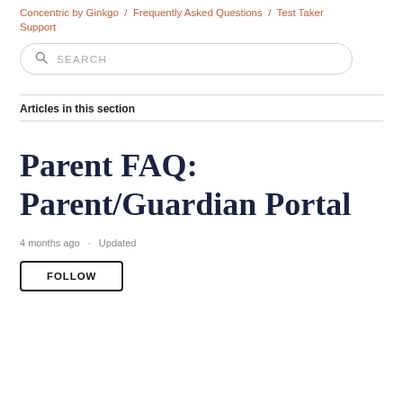Concentric by Ginkgo > Frequently Asked Questions > Test Taker Support
SEARCH
Articles in this section
Parent FAQ: Parent/Guardian Portal
4 months ago · Updated
FOLLOW